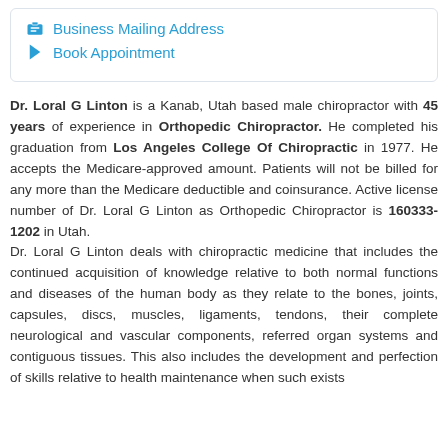Business Mailing Address
Book Appointment
Dr. Loral G Linton is a Kanab, Utah based male chiropractor with 45 years of experience in Orthopedic Chiropractor. He completed his graduation from Los Angeles College Of Chiropractic in 1977. He accepts the Medicare-approved amount. Patients will not be billed for any more than the Medicare deductible and coinsurance. Active license number of Dr. Loral G Linton as Orthopedic Chiropractor is 160333-1202 in Utah.
Dr. Loral G Linton deals with chiropractic medicine that includes the continued acquisition of knowledge relative to both normal functions and diseases of the human body as they relate to the bones, joints, capsules, discs, muscles, ligaments, tendons, their complete neurological and vascular components, referred organ systems and contiguous tissues. This also includes the development and perfection of skills relative to health maintenance when such exists...